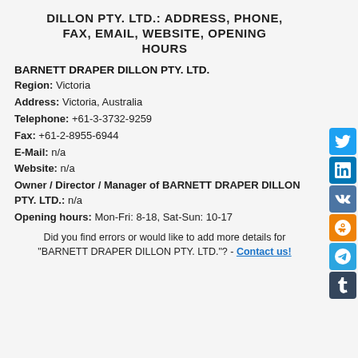DILLON PTY. LTD.: ADDRESS, PHONE, FAX, EMAIL, WEBSITE, OPENING HOURS
BARNETT DRAPER DILLON PTY. LTD.
Region: Victoria
Address: Victoria, Australia
Telephone: +61-3-3732-9259
Fax: +61-2-8955-6944
E-Mail: n/a
Website: n/a
Owner / Director / Manager of BARNETT DRAPER DILLON PTY. LTD.: n/a
Opening hours: Mon-Fri: 8-18, Sat-Sun: 10-17
Did you find errors or would like to add more details for "BARNETT DRAPER DILLON PTY. LTD."? - Contact us!